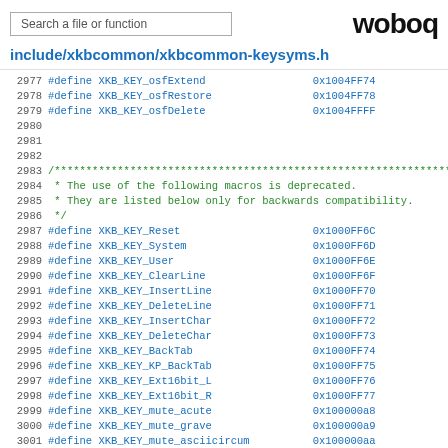Search a file or function | woboq
include/xkbcommon/xkbcommon-keysyms.h
2977  #define XKB_KEY_osfExtend        0x1004FF74
2978  #define XKB_KEY_osfRestore       0x1004FF78
2979  #define XKB_KEY_osfDelete        0x1004FFFF
2980
2981
2982
2983  /***********************************************************...
2984   * The use of the following macros is deprecated.
2985   * They are listed below only for backwards compatibility.
2986   */
2987  #define XKB_KEY_Reset            0x1000FF6C
2988  #define XKB_KEY_System           0x1000FF6D
2989  #define XKB_KEY_User             0x1000FF6E
2990  #define XKB_KEY_ClearLine        0x1000FF6F
2991  #define XKB_KEY_InsertLine       0x1000FF70
2992  #define XKB_KEY_DeleteLine       0x1000FF71
2993  #define XKB_KEY_InsertChar       0x1000FF72
2994  #define XKB_KEY_DeleteChar       0x1000FF73
2995  #define XKB_KEY_BackTab          0x1000FF74
2996  #define XKB_KEY_KP_BackTab       0x1000FF75
2997  #define XKB_KEY_Ext16bit_L       0x1000FF76
2998  #define XKB_KEY_Ext16bit_R       0x1000FF77
2999  #define XKB_KEY_mute_acute       0x100000a8
3000  #define XKB_KEY_mute_grave       0x100000a9
3001  #define XKB_KEY_mute_asciicircum 0x100000aa
3002  #define XKB_KEY_mute_diaeresis   0x100000ab